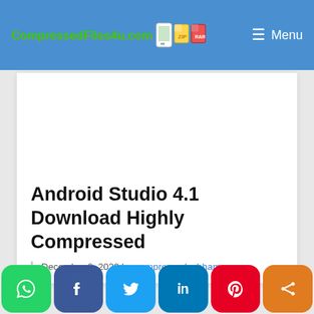CompressedFiles4u.com  Menu
[Figure (other): Advertisement/blank white area placeholder in content card]
Android Studio 4.1 Download Highly Compressed
December 2, 2020 by compressedsubham
[Figure (other): Social share bar with WhatsApp, Facebook, Twitter, LinkedIn, Pinterest, and Share buttons]